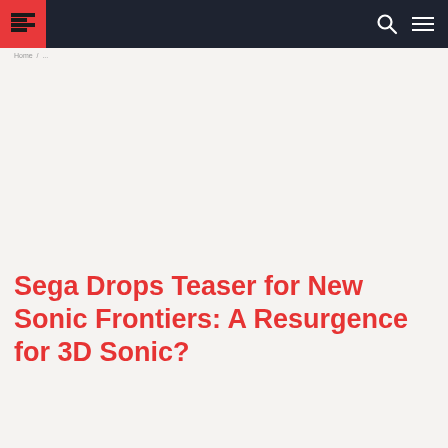[Navigation bar with logo, search icon, and menu icon]
Home / ...
Sega Drops Teaser for New Sonic Frontiers: A Resurgence for 3D Sonic?